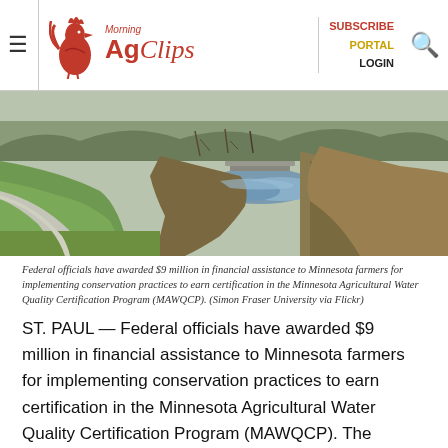Morning AgClips | SUBSCRIBE PORTAL LOGIN
[Figure (photo): A winding rural path alongside a green grassy embankment with a small stream or drainage channel running through natural vegetation and bare-branched trees in a Minnesota agricultural landscape.]
Federal officials have awarded $9 million in financial assistance to Minnesota farmers for implementing conservation practices to earn certification in the Minnesota Agricultural Water Quality Certification Program (MAWQCP). (Simon Fraser University via Flickr)
ST. PAUL — Federal officials have awarded $9 million in financial assistance to Minnesota farmers for implementing conservation practices to earn certification in the Minnesota Agricultural Water Quality Certification Program (MAWQCP). The money comes from the Natural